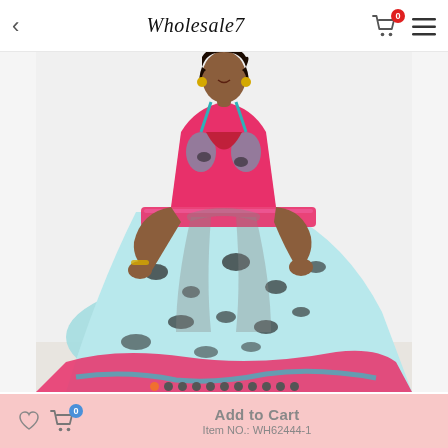Wholesale7
[Figure (photo): A woman wearing a colorful red, teal/light blue, and black leopard print spaghetti strap maxi dress with slit and fold details. The dress has a gradient pattern from hot pink/red at the top and bottom to light blue/mint in the middle with black leopard spots throughout.]
Red Sexy Print Patchwork Slit Fold Spaghetti Strap Straight Dresses
Add to Cart
Item NO.: WH62444-1